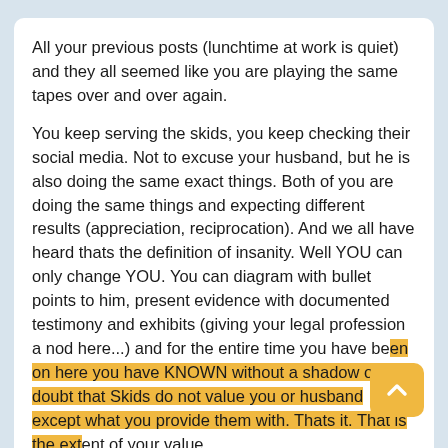All your previous posts (lunchtime at work is quiet) and they all seemed like you are playing the same tapes over and over again.

You keep serving the skids, you keep checking their social media. Not to excuse your husband, but he is also doing the same exact things. Both of you are doing the same things and expecting different results (appreciation, reciprocation). And we all have heard thats the definition of insanity. Well YOU can only change YOU. You can diagram with bullet points to him, present evidence with documented testimony and exhibits (giving your legal profession a nod here...) and for the entire time you have been on here you have KNOWN without a shadow of a doubt that Skids do not value you or husband except what you provide them with. Thats it. That is the extent of your value.